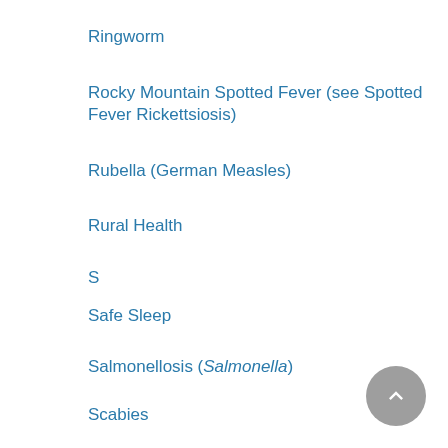Ringworm
Rocky Mountain Spotted Fever (see Spotted Fever Rickettsiosis)
Rubella (German Measles)
Rural Health
S
Safe Sleep
Salmonellosis (Salmonella)
Scabies
School Age Children Nutrition